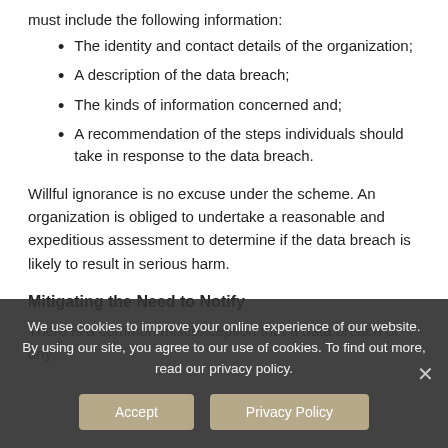must include the following information:
The identity and contact details of the organization;
A description of the data breach;
The kinds of information concerned and;
A recommendation of the steps individuals should take in response to the data breach.
Willful ignorance is no excuse under the scheme. An organization is obliged to undertake a reasonable and expeditious assessment to determine if the data breach is likely to result in serious harm.
Mitigating the Need to Notify
There is a common misconception that a data breach of any…
We use cookies to improve your online experience of our website. By using our site, you agree to our use of cookies. To find out more, read our privacy policy.